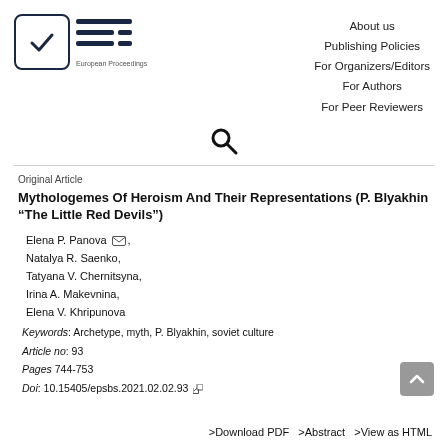[Figure (logo): European Proceedings logo: checkbox with checkmark icon and EP horizontal lines symbol with 'European Proceedings' text below]
About us
Publishing Policies
For Organizers/Editors
For Authors
For Peer Reviewers
[Figure (other): Search magnifying glass icon]
Original Article
Mythologemes Of Heroism And Their Representations (P. Blyakhin “The Little Red Devils”)
Elena P. Panova,
Natalya R. Saenko,
Tatyana V. Chernitsyna,
Irina A. Makevnina,
Elena V. Khripunova
Keywords: Archetype, myth, P. Blyakhin, soviet culture
Article no: 93
Pages 744-753
Doi: 10.15405/epsbs.2021.02.02.93
>Download PDF   >Abstract   >View as HTML